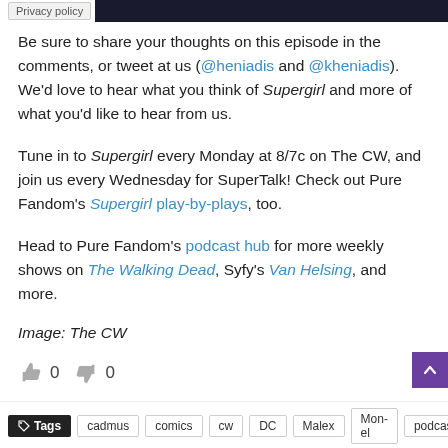Privacy policy
Be sure to share your thoughts on this episode in the comments, or tweet at us (@heniadis and @kheniadis). We'd love to hear what you think of Supergirl and more of what you'd like to hear from us.
Tune in to Supergirl every Monday at 8/7c on The CW, and join us every Wednesday for SuperTalk! Check out Pure Fandom's Supergirl play-by-plays, too.
Head to Pure Fandom's podcast hub for more weekly shows on The Walking Dead, Syfy's Van Helsing, and more.
Image: The CW
0  0
Tags  cadmus  comics  cw  DC  Malex  Mon-el  podcast